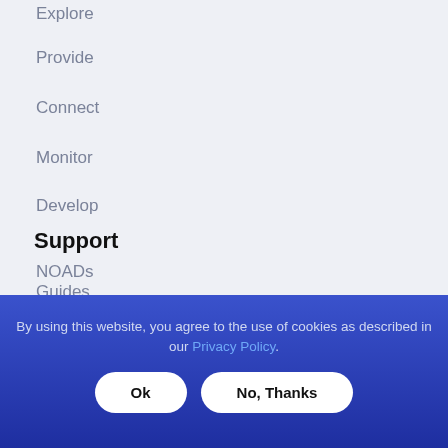Explore
Provide
Connect
Monitor
Develop
Support
NOADs
Guides
By using this website, you agree to the use of cookies as described in our Privacy Policy.
Ok
No, Thanks